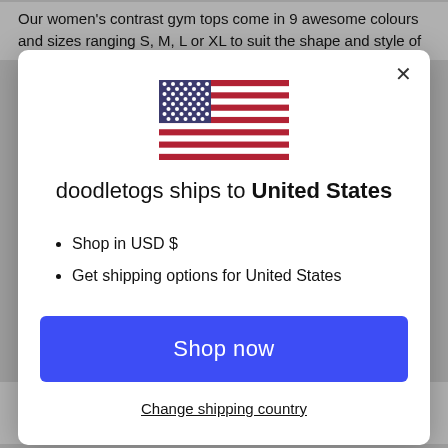Our women's contrast gym tops come in 9 awesome colours and sizes ranging S, M, L or XL to suit the shape and style of
[Figure (illustration): US flag SVG illustration]
doodletogs ships to United States
Shop in USD $
Get shipping options for United States
Shop now
Change shipping country
to know you can rely on your clothes. That's why we only select